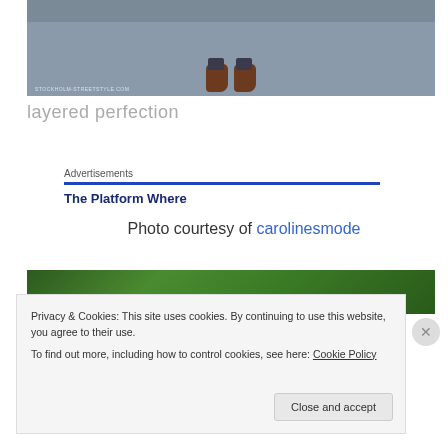[Figure (photo): Photo showing feet/shoes (brown leather shoes) on a gray pavement surface, with watermark 'STOCKHOLM-STREETSTYLE.COM']
layered perfection
Advertisements
The Platform Where
Photo courtesy of carolinesmode
[Figure (photo): Photo of dense green foliage/hedge]
Privacy & Cookies: This site uses cookies. By continuing to use this website, you agree to their use.
To find out more, including how to control cookies, see here: Cookie Policy